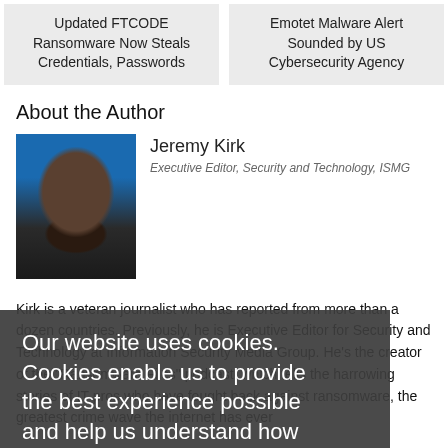Updated FTCODE Ransomware Now Steals Credentials, Passwords
Emotet Malware Alert Sounded by US Cybersecurity Agency
About the Author
Jeremy Kirk
Executive Editor, Security and Technology, ISMG
Kirk is a veteran journalist who has reported from more than a dozen countries. Previously, he is Executive Editor for Security and Technology at Information Security Media Group. He's the creator of the "Ransomware Files" podcast, which tells the harrowing stories of IT pros who have fought back against ransomware, the greatest crime wave the internet has ever
Our website uses cookies. Cookies enable us to provide the best experience possible and help us understand how visitors use our website. By browsing bankinfosecurity.com, you agree to our use of cookies.